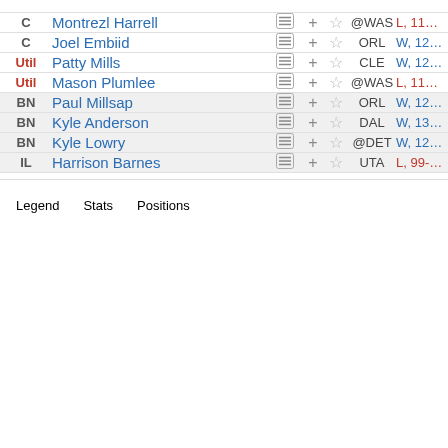| Pos | Player |  | + | ★ | Opp | Result |
| --- | --- | --- | --- | --- | --- | --- |
| C | Montrezl Harrell | ☰ | + | ☆ | @WAS | L, 11… |
| C | Joel Embiid | ☰ | + | ☆ | ORL | W, 12… |
| Util | Patty Mills | ☰ | + | ☆ | CLE | W, 12… |
| Util | Mason Plumlee | ☰ | + | ☆ | @WAS | L, 11… |
| BN | Paul Millsap | ☰ | + | ☆ | ORL | W, 12… |
| BN | Kyle Anderson | ☰ | + | ☆ | DAL | W, 13… |
| BN | Kyle Lowry | ☰ | + | ☆ | @DET | W, 12… |
| IL | Harrison Barnes | ☰ | + | ☆ | UTA | L, 99-… |
Legend   Stats   Positions